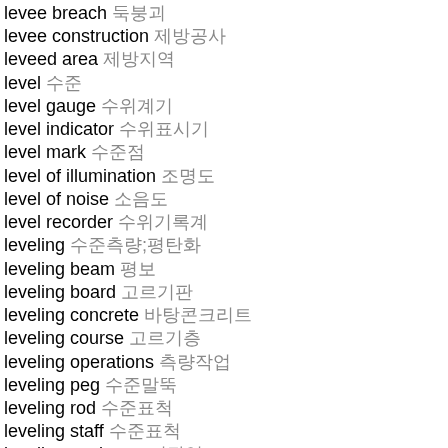levee breach 둑붕괴
levee construction 제방공사
leveed area 제방지역
level 수준
level gauge 수위계기
level indicator 수위표시기
level mark 수준점
level of illumination 조명도
level of noise 소음도
level recorder 수위기록계
leveling 수준측량;평탄화
leveling beam 평보
leveling board 고르기판
leveling concrete 바탕콘크리트
leveling course 고르기층
leveling operations 측량작업
leveling peg 수준말뚝
leveling rod 수준표척
leveling staff 수준표척
leveling work 고르기작업